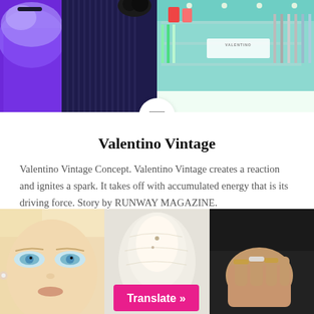[Figure (photo): Top banner with two fashion photos side by side: left shows purple feathered garment and dark draped clothing, right shows Valentino store interior with teal walls and red accessories. A circular menu icon overlaps the center bottom.]
Valentino Vintage
Valentino Vintage Concept. Valentino Vintage creates a reaction and ignites a spark. It takes off with accumulated energy that is its driving force. Story by RUNWAY MAGAZINE.
[Figure (photo): Bottom row of three photos: a close-up of a blonde model's face with blue eyes, a pale sculptural object or garment detail, and hands with rings against a dark background. A pink 'Translate »' button overlays the center image.]